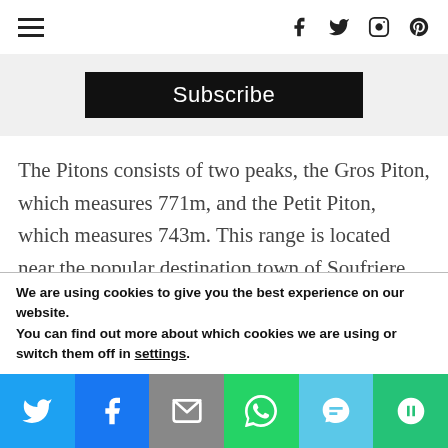☰  f  twitter  instagram  pinterest
Subscribe
The Pitons consists of two peaks, the Gros Piton, which measures 771m, and the Petit Piton, which measures 743m. This range is located near the popular destination town of Soufriere, which is also considered...
We are using cookies to give you the best experience on our website.
You can find out more about which cookies we are using or switch them off in settings.
Social share bar: Twitter, Facebook, Email, WhatsApp, SMS, More